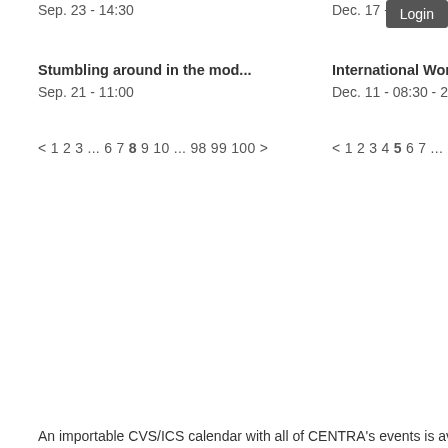Sep. 23 - 14:30
Dec. 17 - 09:00 - 2018 - 09:00
[Figure (screenshot): Login button]
Stumbling around in the mod...
Sep. 21 - 11:00
International Workshop on
Dec. 11 - 08:30 - 2018 - 08:30
< 1 2 3 ... 6 7 8 9 10 ... 98 99 100 >
< 1 2 3 4 5 6 7 ... 11 12 13 >
An importable CVS/ICS calendar with all of CENTRA's events is avail